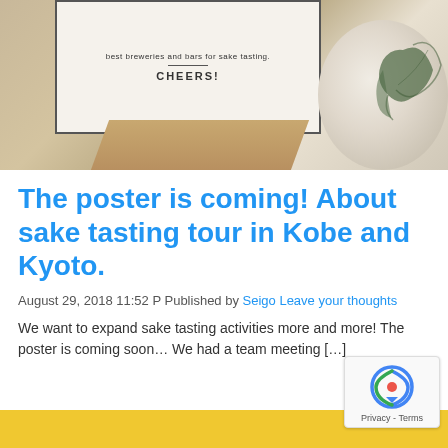[Figure (photo): Photo of sake tasting setup: a card with 'best breweries and bars for sake tasting' and 'CHEERS!' text in a bordered frame, with a ceramic bowl with blue leaf pattern and wooden base on a warm beige background]
The poster is coming! About sake tasting tour in Kobe and Kyoto.
August 29, 2018 11:52 P Published by Seigo Leave your thoughts
We want to expand sake tasting activities more and more! The poster is coming soon… We had a team meeting […]
[Figure (photo): Bottom edge of page showing yellow/gold strip with partial image]